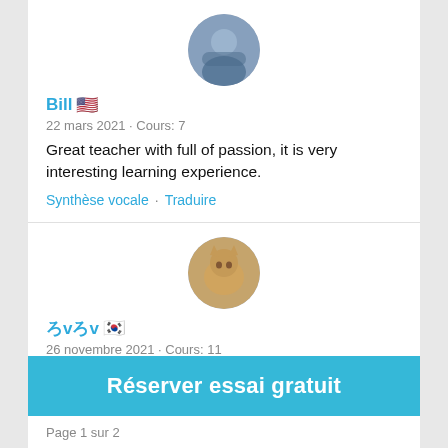[Figure (photo): Circular avatar photo of user Bill — person in blue, photographed from above]
Bill 🇺🇸
22 mars 2021 · Cours: 7
Great teacher with full of passion, it is very interesting learning experience.
Synthèse vocale · Traduire
[Figure (photo): Circular avatar photo of user ろvろv — appears to show a cat or animal]
ろvろv 🇰🇷
26 novembre 2021 · Cours: 11
I love you~!! You are the best teacher!!!
Réserver essai gratuit
Page 1 sur 2